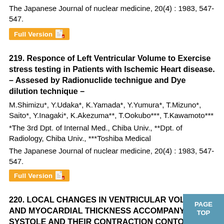The Japanese Journal of nuclear medicine, 20(4) : 1983, 547-547.
[Figure (other): Full Version button with orange background and PDF icon]
219. Responce of Left Ventricular Volume to Exercise stress testing in Patients with Ischemic Heart disease. – Assesed by Radionuclide technigue and Dye dilution technique –
M.Shimizu*, Y.Udaka*, K.Yamada*, Y.Yumura*, T.Mizuno*, Saito*, Y.Inagaki*, K.Akezuma**, T.Ookubo***, T.Kawamoto***
*The 3rd Dpt. of Internal Med., Chiba Univ., **Dpt. of Radiology, Chiba Univ., ***Toshiba Medical
The Japanese Journal of nuclear medicine, 20(4) : 1983, 547-547.
[Figure (other): Full Version button with orange background and PDF icon]
220. LOCAL CHANGES IN VENTRICULAR VOLUME AND MYOCARDIAL THICKNESS ACCOMPANYING SYSTOLE AND THEIR CONTRACTION CONTOURS